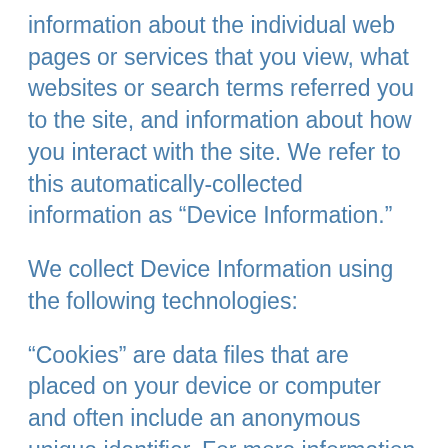information about the individual web pages or services that you view, what websites or search terms referred you to the site, and information about how you interact with the site. We refer to this automatically-collected information as “Device Information.”
We collect Device Information using the following technologies:
“Cookies” are data files that are placed on your device or computer and often include an anonymous unique identifier. For more information about cookies, and how to disable cookies, visit https://www.allaboutcookies.org. “Log files” track actions occurring on the site